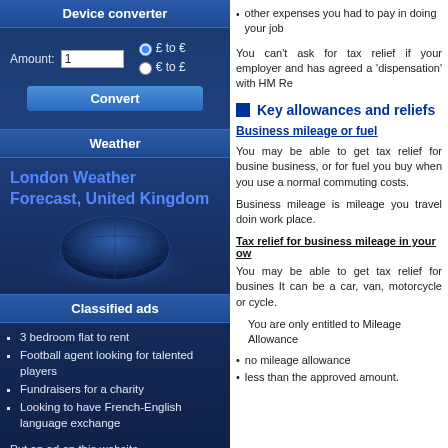Device converter
Amount: 1   £ to €   € to £   Convert
Weather
London Weather Forecast, United Kingdom
Classified ads
3 bedroom flat to rent
Football agent looking for talented players
Fundraisers for a charity
Looking to have French-English language exchange
Put an ad on this website
other expenses you had to pay in doing your job
You can't ask for tax relief if your employer and has agreed a 'dispensation' with HM Re
Key allowances and reliefs
Business mileage or fuel
You may be able to get tax relief for business, or for fuel you buy when you use a normal commuting costs.
Business mileage is mileage you travel doing work place.
Tax relief for business mileage in your ow
You may be able to get tax relief for business. It can be a car, van, motorcycle or cycle.
You are only entitled to Mileage Allowance
no mileage allowance
less than the approved amount.